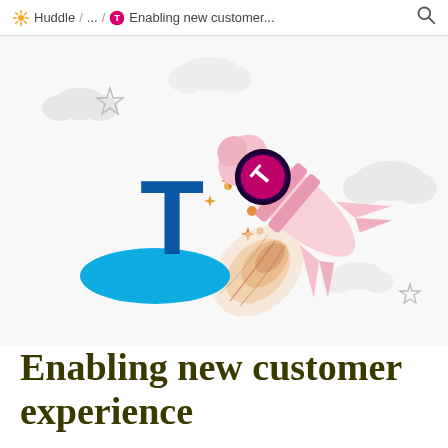Huddle / ... / Enabling new customer...
[Figure (illustration): Illustration of a pink rocket launching upward and to the right with flame exhaust, featuring the Telstra logo (pink circle with white T) on the rocket body. In the foreground bottom-left is the large Telstra logo (blue T with blue oval). Small decorative clouds and orange star sparks are scattered around the background on a white/light grey area.]
Enabling new customer experience